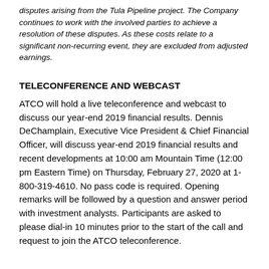disputes arising from the Tula Pipeline project. The Company continues to work with the involved parties to achieve a resolution of these disputes. As these costs relate to a significant non-recurring event, they are excluded from adjusted earnings.
TELECONFERENCE AND WEBCAST
ATCO will hold a live teleconference and webcast to discuss our year-end 2019 financial results. Dennis DeChamplain, Executive Vice President & Chief Financial Officer, will discuss year-end 2019 financial results and recent developments at 10:00 am Mountain Time (12:00 pm Eastern Time) on Thursday, February 27, 2020 at 1-800-319-4610. No pass code is required. Opening remarks will be followed by a question and answer period with investment analysts. Participants are asked to please dial-in 10 minutes prior to the start of the call and request to join the ATCO teleconference.